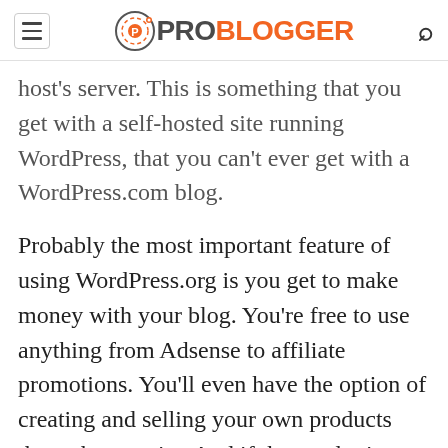ProBlogger
host's server. This is something that you get with a self-hosted site running WordPress, that you can't ever get with a WordPress.com blog.
Probably the most important feature of using WordPress.org is you get to make money with your blog. You’re free to use anything from Adsense to affiliate promotions. You’ll even have the option of creating and selling your own products through your site. And if the need arises, you can turn a WordPress.org site into a full-blown ecommerce solution.